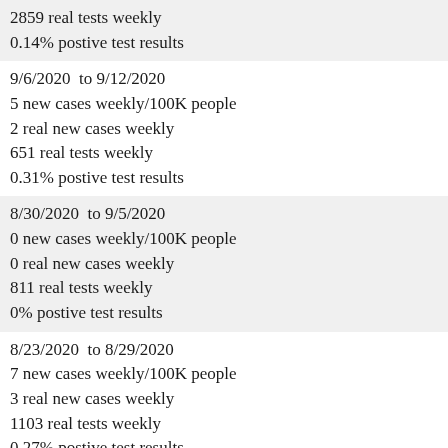2859 real tests weekly
0.14% postive test results
9/6/2020  to 9/12/2020
5 new cases weekly/100K people
2 real new cases weekly
651 real tests weekly
0.31% postive test results
8/30/2020  to 9/5/2020
0 new cases weekly/100K people
0 real new cases weekly
811 real tests weekly
0% postive test results
8/23/2020  to 8/29/2020
7 new cases weekly/100K people
3 real new cases weekly
1103 real tests weekly
0.27% postive test results
8/16/2020  to 8/22/2020
12 new cases weekly/100K people